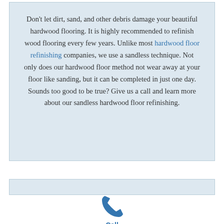Don't let dirt, sand, and other debris damage your beautiful hardwood flooring. It is highly recommended to refinish wood flooring every few years. Unlike most hardwood floor refinishing companies, we use a sandless technique. Not only does our hardwood floor method not wear away at your floor like sanding, but it can be completed in just one day. Sounds too good to be true? Give us a call and learn more about our sandless hardwood floor refinishing.
[Figure (other): Blue telephone/call icon with the label 'Call' below it]